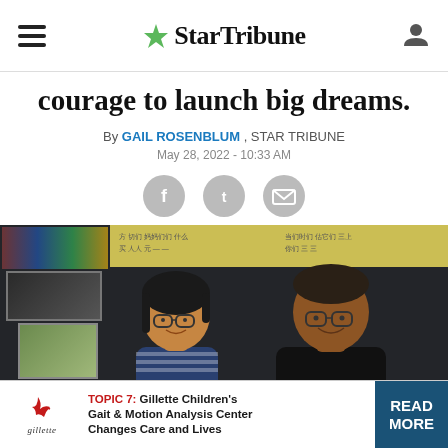StarTribune
courage to launch big dreams.
By GAIL ROSENBLUM , STAR TRIBUNE
May 28, 2022 - 10:33 AM
[Figure (other): Social share icons: Facebook, Twitter, Email]
[Figure (photo): Two people posing in a classroom with a dark chalkboard background, wall photos, and sticky notes with writing. A woman with glasses on the left and a young man with glasses on the right.]
[Figure (other): Advertisement banner: Gillette logo on left, text 'TOPIC 7: Gillette Children's Gait & Motion Analysis Center Changes Care and Lives', READ MORE button on right]